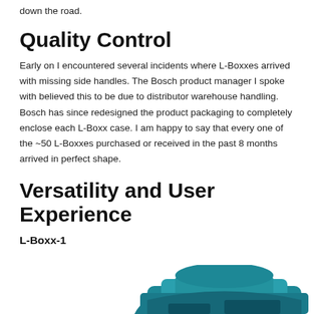down the road.
Quality Control
Early on I encountered several incidents where L-Boxxes arrived with missing side handles. The Bosch product manager I spoke with believed this to be due to distributor warehouse handling. Bosch has since redesigned the product packaging to completely enclose each L-Boxx case. I am happy to say that every one of the ~50 L-Boxxes purchased or received in the past 8 months arrived in perfect shape.
Versatility and User Experience
L-Boxx-1
[Figure (photo): Partial view of a teal/blue L-Boxx case product at the bottom of the page]